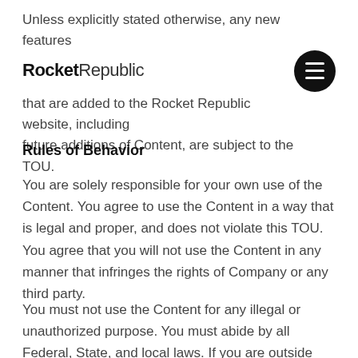Unless explicitly stated otherwise, any new features that are added to the Rocket Republic website, including future additions of Content, are subject to the TOU.
[Figure (logo): Rocket Republic logo with bold 'Rocket' and lighter 'Republic' text, overlaid with a black circular menu/hamburger button icon in the top right corner]
Rules of Behavior
You are solely responsible for your own use of the Content. You agree to use the Content in a way that is legal and proper, and does not violate this TOU. You agree that you will not use the Content in any manner that infringes the rights of Company or any third party.
You must not use the Content for any illegal or unauthorized purpose. You must abide by all Federal, State, and local laws. If you are outside